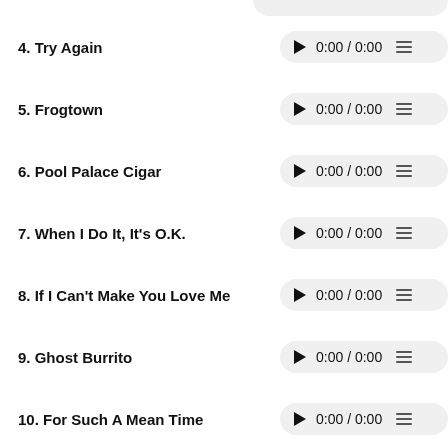4. Try Again
5. Frogtown
6. Pool Palace Cigar
7. When I Do It, It's O.K.
8. If I Can't Make You Love Me
9. Ghost Burrito
10. For Such A Mean Time